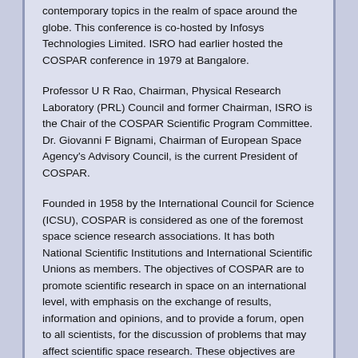contemporary topics in the realm of space around the globe. This conference is co-hosted by Infosys Technologies Limited. ISRO had earlier hosted the COSPAR conference in 1979 at Bangalore.
Professor U R Rao, Chairman, Physical Research Laboratory (PRL) Council and former Chairman, ISRO is the Chair of the COSPAR Scientific Program Committee. Dr. Giovanni F Bignami, Chairman of European Space Agency's Advisory Council, is the current President of COSPAR.
Founded in 1958 by the International Council for Science (ICSU), COSPAR is considered as one of the foremost space science research associations. It has both National Scientific Institutions and International Scientific Unions as members. The objectives of COSPAR are to promote scientific research in space on an international level, with emphasis on the exchange of results, information and opinions, and to provide a forum, open to all scientists, for the discussion of problems that may affect scientific space research. These objectives are achieved through the organisation of scientific assemblies, publications and other means. The COSPAR Scientific Assembly provides